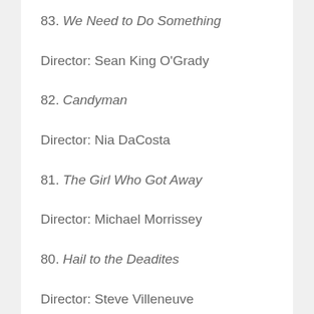83. We Need to Do Something
Director: Sean King O'Grady
82. Candyman
Director: Nia DaCosta
81. The Girl Who Got Away
Director: Michael Morrissey
80. Hail to the Deadites
Director: Steve Villeneuve
79. Clerk.